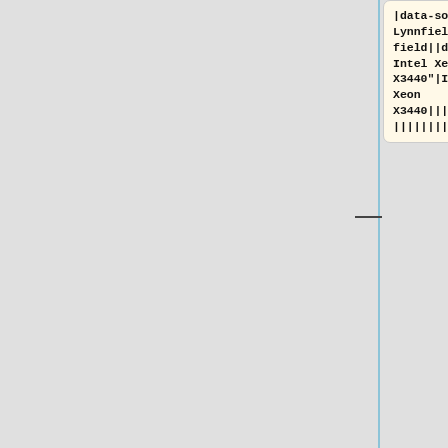|data-sort-value="2009, Lynnfield"|Lynnfield||data-sort-value="2009, Intel Xeon X3440"|Intel Xeon X3440||||||||||568||||||||'''568'''
|-
|data-sort-value="2010, Nehalem"|Nehalem||data-sort-value="2010, Intel Xeon X5570"|Intel Xeon X5570||||||||||||||168||||'''168'''